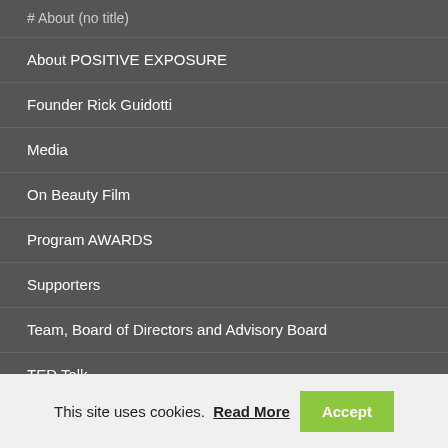# About (no title)
About POSITIVE EXPOSURE
Founder Rick Guidotti
Media
On Beauty Film
Program AWARDS
Supporters
Team, Board of Directors and Advisory Board
TED Talk
Contact
Americans with Disabilities Act
This site uses cookies. Read More Accept